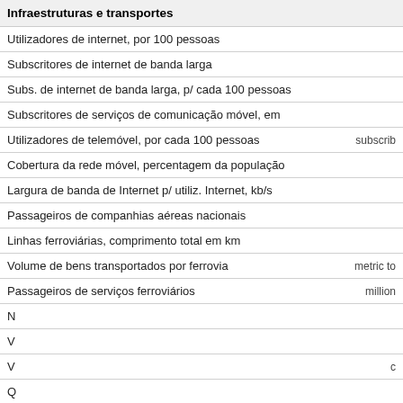| Infraestruturas e transportes |  |
| --- | --- |
| Utilizadores de internet, por 100 pessoas |  |
| Subscritores de internet de banda larga |  |
| Subs. de internet de banda larga, p/ cada 100 pessoas |  |
| Subscritores de serviços de comunicação móvel, em |  |
| Utilizadores de telemóvel, por cada 100 pessoas | subscrib |
| Cobertura da rede móvel, percentagem da população |  |
| Largura de banda de Internet p/ utiliz. Internet, kb/s |  |
| Passageiros de companhias aéreas nacionais |  |
| Linhas ferroviárias, comprimento total em km |  |
| Volume de bens transportados por ferrovia | metric to |
| Passageiros de serviços ferroviários | million |
| N… |  |
| V… |  |
| V… | c |
| Q… |  |
| Q… |  |
| Q… |  |
| Qualidade das infra. transp. aéreo, 1(baixo) - 7(alta) |  |
[Figure (screenshot): Cookie consent overlay with dark navy background. Text: 'This site uses cookies. Learn more here' with blue OK button.]